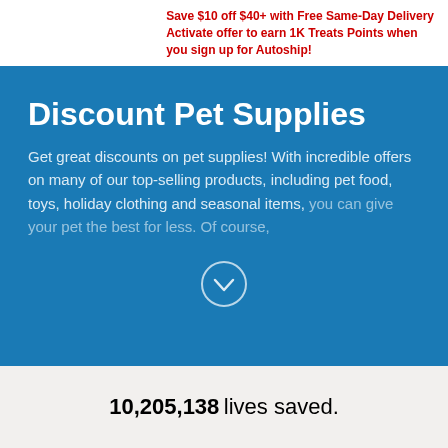Save $10 off $40+ with Free Same-Day Delivery Activate offer to earn 1K Treats Points when you sign up for Autoship!
Discount Pet Supplies
Get great discounts on pet supplies! With incredible offers on many of our top-selling products, including pet food, toys, holiday clothing and seasonal items, you can give your pet the best for less. Of course,
10,205,138 lives saved.
Pet Services
Track your order